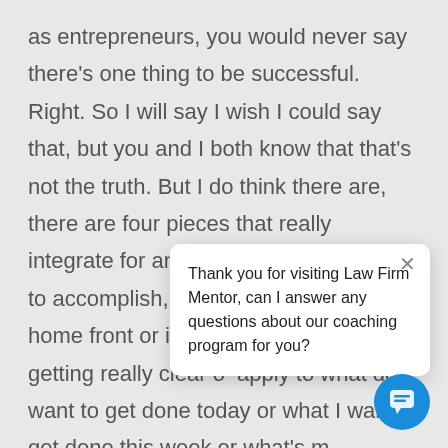as entrepreneurs, you would never say there's one thing to be successful. Right. So I will say I wish I could say that, but you and I both know that that's not the truth. But I do think there are, there are four pieces that really integrate for anything that you're trying to accomplish, whether again, it's in the home front or in [business]. So this four-step framework starts with getting really clear o[n] ... apply to what do I want to get done today or what I want to get done this week or what's m[ost] meaningful for me to accomplish this month,
Thank you for visiting Law Firm Mentor, can I answer any questions about our coaching program for you?